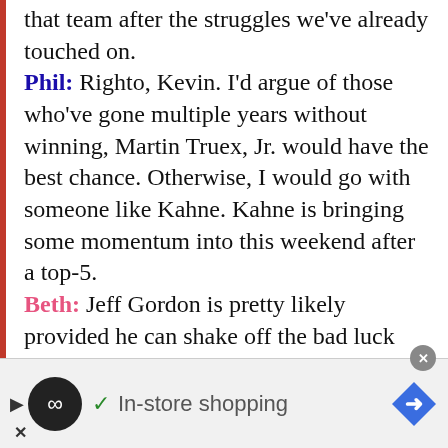that team after the struggles we've already touched on. Phil: Righto, Kevin. I'd argue of those who've gone multiple years without winning, Martin Truex, Jr. would have the best chance. Otherwise, I would go with someone like Kahne. Kahne is bringing some momentum into this weekend after a top-5. Beth: Jeff Gordon is pretty likely provided he can shake off the bad luck following him around. Amy: Although, Jimmie Johnson has a much better Darlington average than I thought as well. Better than Gordon's, actually. And I do
[Figure (other): Advertisement bar at the bottom showing a play button, a circular logo with infinity symbol, a checkmark, 'In-store shopping' text, a blue diamond arrow icon, and a close X button.]